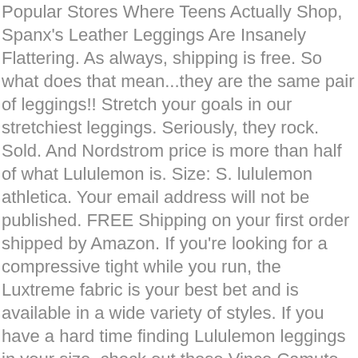Popular Stores Where Teens Actually Shop, Spanx's Leather Leggings Are Insanely Flattering. As always, shipping is free. So what does that mean...they are the same pair of leggings!! Stretch your goals in our stretchiest leggings. Seriously, they rock. Sold. And Nordstrom price is more than half of what Lululemon is. Size: S. lululemon athletica. Your email address will not be published. FREE Shipping on your first order shipped by Amazon. If you're looking for a compressive tight while you run, the Luxtreme fabric is your best bet and is available in a wide variety of styles. If you have a hard time finding Lululemon leggings in your size, check out these Vince Camuto High Rise leggings. Not only are they made from a high compression fabric for serious workouts, the fabric has four way stretch and moisture wicking as well.
Lululemon Leggings Women Stretch Nylon Spandex Pants skinny Size 6 Or 8 Top Rated Seller. Once again, high waist leggings are so flattering! As always, shipping is free. These leggings are just like Lululemon, without the pricetags! Its